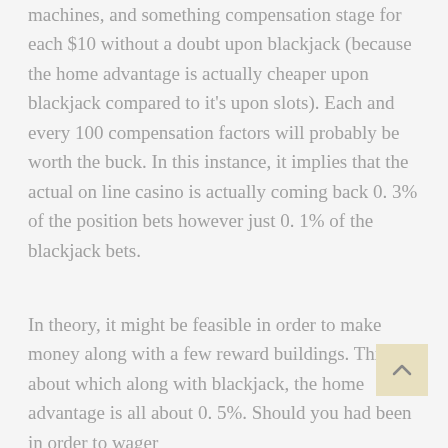machines, and something compensation stage for each $10 without a doubt upon blackjack (because the home advantage is actually cheaper upon blackjack compared to it's upon slots). Each and every 100 compensation factors will probably be worth the buck. In this instance, it implies that the actual on line casino is actually coming back 0. 3% of the position bets however just 0. 1% of the blackjack bets.
In theory, it might be feasible in order to make money along with a few reward buildings. Think about which along with blackjack, the home advantage is all about 0. 5%. Should you had been in order to wager